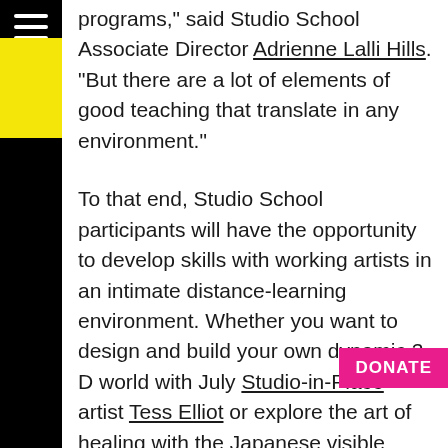programs," said Studio School Associate Director Adrienne Lalli Hills. "But there are a lot of elements of good teaching that translate in any environment."
To that end, Studio School participants will have the opportunity to develop skills with working artists in an intimate distance-learning environment. Whether you want to design and build your own dynamic 3-D world with July Studio-in-Place artist Tess Elliot or explore the art of healing with the Japanese visible mending technique of Sashiko, these diverse online courses offer a variety of pathways to creative and personal growth.
Unlike physical classes, Studio School Online limited to those who can make the commute to our new state-of-the-art facilities in downtown